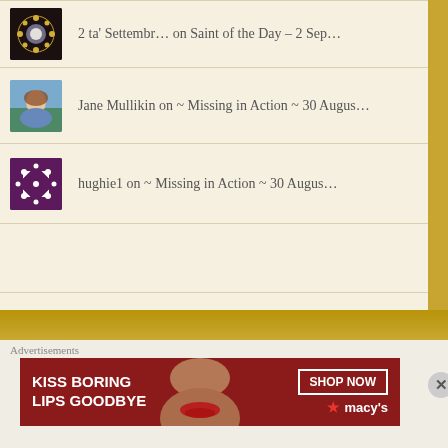2 ta' Settembr… on Saint of the Day – 2 Sep…
Jane Mullikin on ~ Missing in Action ~ 30 Augus…
hughie1 on ~ Missing in Action ~ 30 Augus…
Translate
Select Language
Advertisements
[Figure (photo): Advertisement banner: KISS BORING LIPS GOODBYE – SHOP NOW – macys]